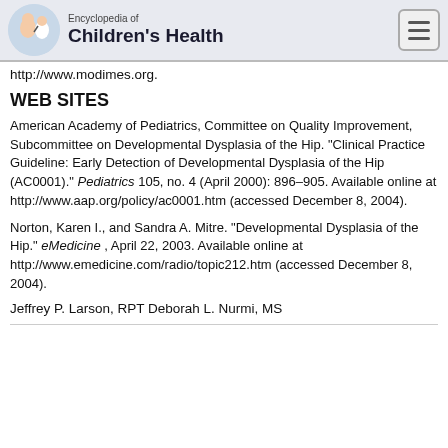Encyclopedia of Children's Health
http://www.modimes.org.
WEB SITES
American Academy of Pediatrics, Committee on Quality Improvement, Subcommittee on Developmental Dysplasia of the Hip. "Clinical Practice Guideline: Early Detection of Developmental Dysplasia of the Hip (AC0001)." Pediatrics 105, no. 4 (April 2000): 896–905. Available online at http://www.aap.org/policy/ac0001.htm (accessed December 8, 2004).
Norton, Karen I., and Sandra A. Mitre. "Developmental Dysplasia of the Hip." eMedicine , April 22, 2003. Available online at http://www.emedicine.com/radio/topic212.htm (accessed December 8, 2004).
Jeffrey P. Larson, RPT Deborah L. Nurmi, MS